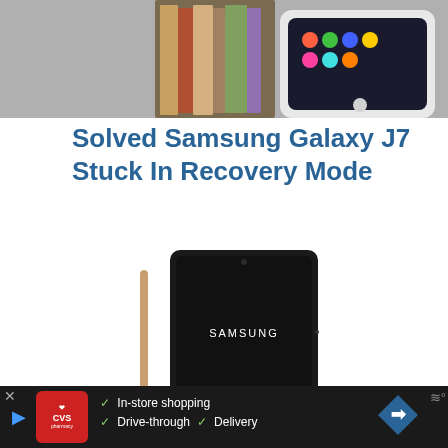[Figure (photo): Top portion of a photo showing Samsung smartphones and colorful books/cards on a textured background]
Solved Samsung Galaxy J7 Stuck In Recovery Mode
[Figure (photo): Samsung tablet with black screen displaying the Samsung logo, with a stylus pen beside it, on a white background]
How to Fix It When Galaxy Tab S7 Won't Turn On
[Figure (screenshot): Advertisement banner for CVS Pharmacy showing: In-store shopping, Drive-through, Delivery options with a red CVS pharmacy logo and a blue navigation arrow icon]